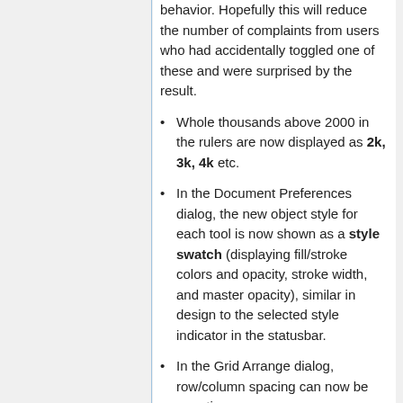behavior. Hopefully this will reduce the number of complaints from users who had accidentally toggled one of these and were surprised by the result.
Whole thousands above 2000 in the rulers are now displayed as 2k, 3k, 4k etc.
In the Document Preferences dialog, the new object style for each tool is now shown as a style swatch (displaying fill/stroke colors and opacity, stroke width, and master opacity), similar in design to the selected style indicator in the statusbar.
In the Grid Arrange dialog, row/column spacing can now be negative.